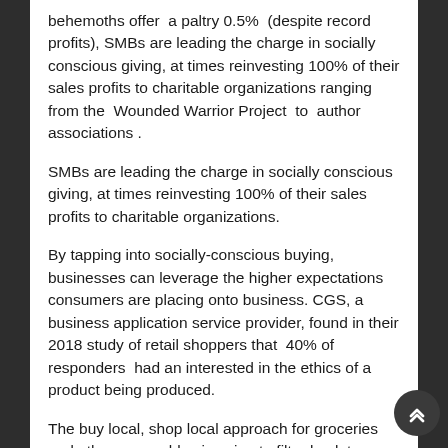behemoths offer a paltry 0.5% (despite record profits), SMBs are leading the charge in socially conscious giving, at times reinvesting 100% of their sales profits to charitable organizations ranging from the Wounded Warrior Project to author associations .
SMBs are leading the charge in socially conscious giving, at times reinvesting 100% of their sales profits to charitable organizations.
By tapping into socially-conscious buying, businesses can leverage the higher expectations consumers are placing onto business. CGS, a business application service provider, found in their 2018 study of retail shoppers that 40% of responders had an interested in the ethics of a product being produced.
The buy local, shop local approach for groceries and other renewables is going to filter back to online items as well.
This expectation goes further, where roughly that number of users are willing to pay more for sustainable products. However, this should come as no surprise. Th